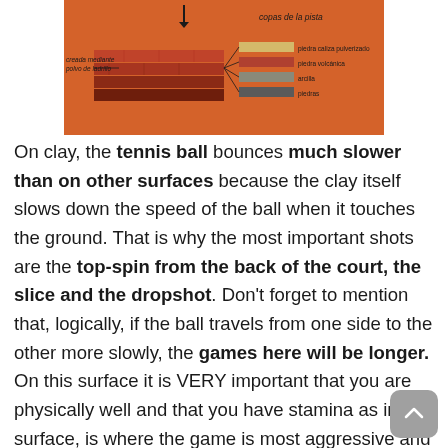[Figure (infographic): Diagram of clay court layers on an orange/terracotta background, labeled in Spanish. Shows layers: piedra caliza pulverizado, piedra volcánica, arcilla, piedras. Text label 'copas de la pista' at top right, 'creada mediante polvo de ladrillo' at left with arrows.]
On clay, the tennis ball bounces much slower than on other surfaces because the clay itself slows down the speed of the ball when it touches the ground. That is why the most important shots are the top-spin from the back of the court, the slice and the dropshot. Don't forget to mention that, logically, if the ball travels from one side to the other more slowly, the games here will be longer. On this surface it is VERY important that you are physically well and that you have stamina as in this surface, is where the game is most aggressive and also where matches can be